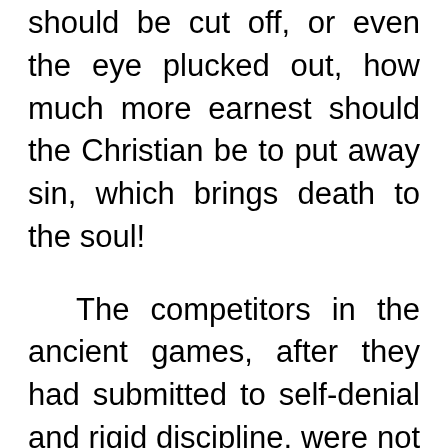should be cut off, or even the eye plucked out, how much more earnest should the Christian be to put away sin, which brings death to the soul!
The competitors in the ancient games, after they had submitted to self-denial and rigid discipline, were not even then sure of the victory. "Know ye not," Paul asked, "that they which run in a